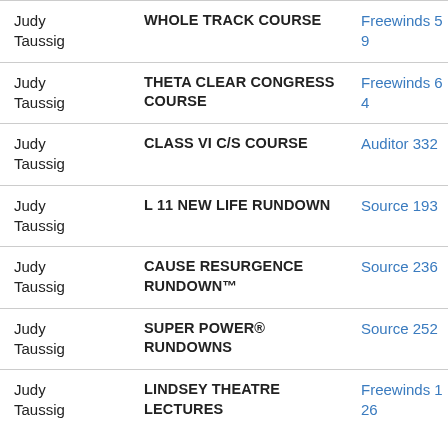| Name | Course | Publication | Date |
| --- | --- | --- | --- |
| Judy Taussig | WHOLE TRACK COURSE | Freewinds 59 | 2005-09-01 |
| Judy Taussig | THETA CLEAR CONGRESS COURSE | Freewinds 64 | 2006-09-01 |
| Judy Taussig | CLASS VI C/S COURSE | Auditor 332 | 2006-12-01 |
| Judy Taussig | L 11 NEW LIFE RUNDOWN | Source 193 | 2007-08-01 |
| Judy Taussig | CAUSE RESURGENCE RUNDOWN™ | Source 236 | 2015-04-01 |
| Judy Taussig | SUPER POWER® RUNDOWNS | Source 252 | 2018-06-01 |
| Judy Taussig | LINDSEY THEATRE LECTURES | Freewinds 126 | 2019-02-01 |
Note: The dates listed above are the approximate publication dates of the magazines, which may be weeks or months later than the actual date the service was completed.